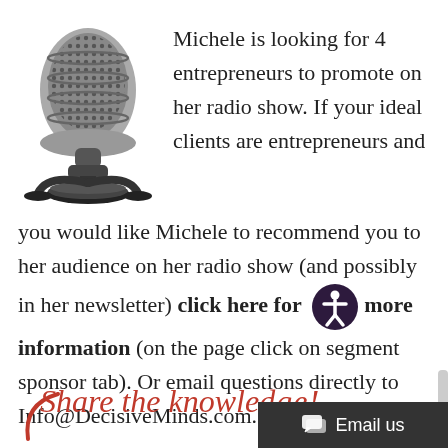[Figure (illustration): A classic silver and black retro microphone on a stand]
Michele is looking for 4 entrepreneurs to promote on her radio show.  If your ideal clients are entrepreneurs and you would like Michele to recommend you to her audience on her radio show (and possibly in her newsletter) click here for more information (on the page click on segment sponsor tab).  Or email questions directly to Info@DecisiveMinds.com.
[Figure (illustration): Accessibility icon - person in a circle with purple background]
Share the knowledge!
[Figure (illustration): Red decorative arc/swirl element at bottom left]
[Figure (screenshot): Email us button bar at bottom right with chat icon]